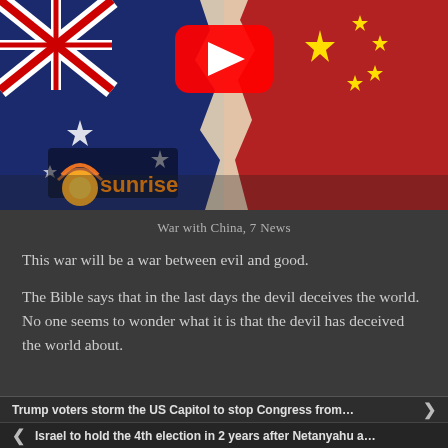[Figure (screenshot): Video thumbnail showing Australian and Chinese flags torn/collaged together with a YouTube play button icon. Sunrise (7 News Australia) logo visible in bottom left corner of thumbnail.]
War with China, 7 News
This war will be a war between evil and good.
The Bible says that in the last days the devil deceives the world. No one seems to wonder what it is that the devil has deceived the world about.
Trump voters storm the US Capitol to stop Congress from…
Israel to hold the 4th election in 2 years after Netanyahu a…